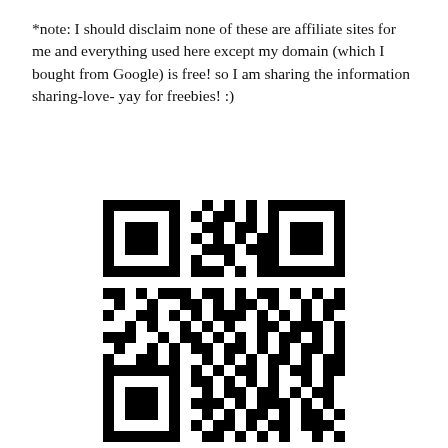*note: I should disclaim none of these are affiliate sites for me and everything used here except my domain (which I bought from Google) is free! so I am sharing the information sharing-love- yay for freebies! :)
[Figure (other): A QR code image (black and white matrix barcode)]